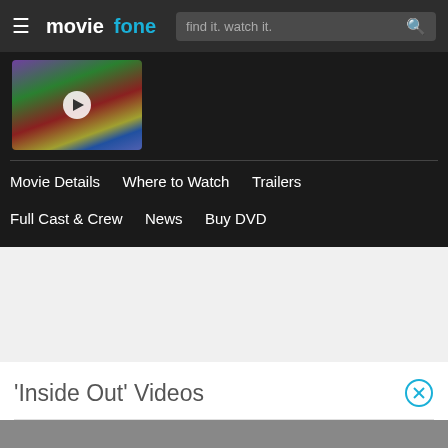moviefone | find it. watch it.
[Figure (screenshot): Inside Out animated movie thumbnail with play button overlay showing colorful cartoon characters]
Movie Details   Where to Watch   Trailers
Full Cast & Crew   News   Buy DVD
'Inside Out' Videos